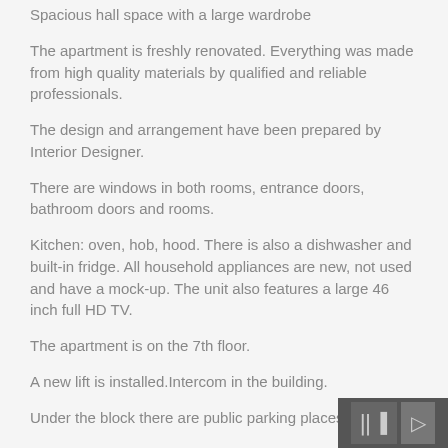Spacious hall space with a large wardrobe
The apartment is freshly renovated. Everything was made from high quality materials by qualified and reliable professionals.
The design and arrangement have been prepared by Interior Designer.
There are windows in both rooms, entrance doors, bathroom doors and rooms.
Kitchen: oven, hob, hood. There is also a dishwasher and built-in fridge. All household appliances are new, not used and have a mock-up. The unit also features a large 46 inch full HD TV.
The apartment is on the 7th floor.
A new lift is installed.Intercom in the building.
Under the block there are public parking places.